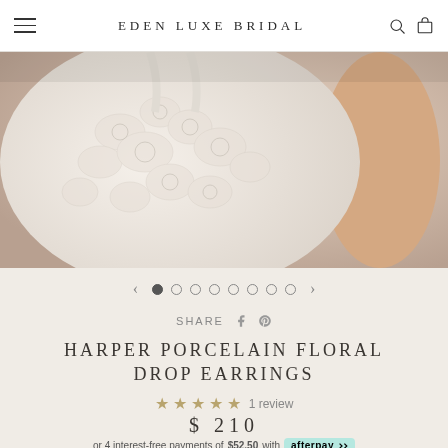EDEN LUXE BRIDAL
[Figure (photo): Close-up of a bride wearing an intricate white lace floral dress, showing detailed embroidery on the back/shoulder area, warm toned background]
[Figure (other): Carousel navigation dots: 1 active filled dot and 7 empty circle dots, with left and right arrows]
SHARE
HARPER PORCELAIN FLORAL DROP EARRINGS
★★★★★ 1 review
$ 210
or 4 interest-free payments of $52.50 with afterpay